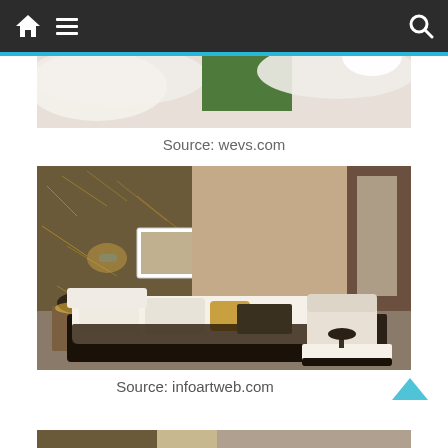Navigation bar with home, menu, and search icons
[Figure (photo): Partial view of a modern interior room design with green accent panel and white ceiling, cropped at top]
Source: wevs.com
[Figure (photo): Modern luxury bedroom with dark textured feature wall, recessed lighting, low-profile white and dark bed, framed artwork, warm accent lighting on nightstands, armchair, and brown curtains]
Source: infoartweb.com